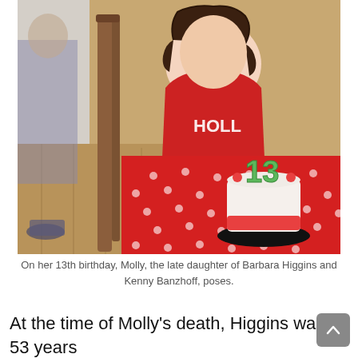[Figure (photo): A girl wearing a red shirt with 'HOLL' text sits at a table with a red polka-dot tablecloth, leaning toward a white birthday cake with '13' candle decoration on top. A wooden chair is visible in the foreground. The setting appears to be a kitchen or dining room.]
On her 13th birthday, Molly, the late daughter of Barbara Higgins and Kenny Banzhoff, poses.
At the time of Molly's death, Higgins was 53 years